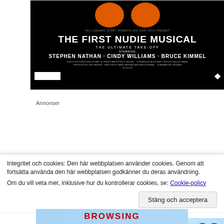[Figure (photo): Movie poster for 'The First Nudie Musical' on black background with orange circles at top, featuring text: HAL LANDERS, BOBBY ROBERTS AND GARY RICH PRESENT / THE FIRST NUDIE MUSICAL / THE ULTIMATE TAKE-OFF / STARRING / STEPHEN NATHAN · CINDY WILLIAMS · BRUCE KIMMEL / credits / PRODUCED BY JACK REEVES · DIRECTED BY MARK HAGGARD AND BRUCE KIMMEL · A PARAMOUNT RELEASE / IN COLOR]
Annonser
[Figure (screenshot): Advertisement banner with blue sky background showing 'WORKS ON THE APP TOO!' in white italic bold text and '$39.99 a year or $4.99' in purple and yellow]
Integritet och cookies: Den här webbplatsen använder cookies. Genom att fortsätta använda den här webbplatsen godkänner du deras användning.
Om du vill veta mer, inklusive hur du kontrollerar cookies, se: Cookie-policy
[Figure (screenshot): Bottom portion of advertisement showing 'BROWSING' in large bold red text on blue background]